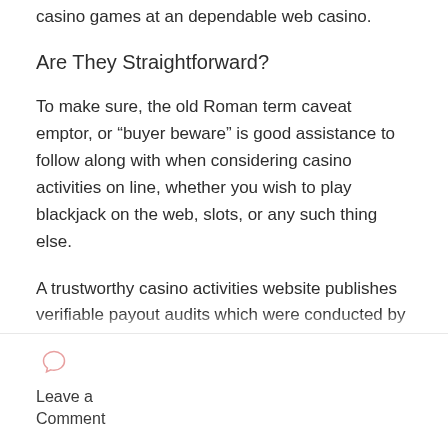casino games at an dependable web casino.
Are They Straightforward?
To make sure, the old Roman term caveat emptor, or “buyer beware” is good assistance to follow along with when considering casino activities on line, whether you wish to play blackjack on the web, slots, or any such thing else.
A trustworthy casino activities website publishes verifiable payout audits which were conducted by
Leave a Comment